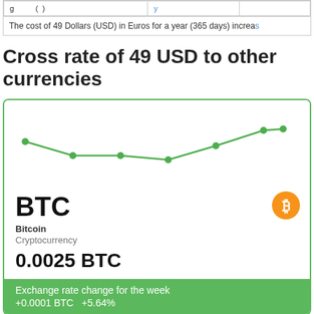|  |  |  |
The cost of 49 Dollars (USD) in Euros for a year (365 days) increa...
Cross rate of 49 USD to other currencies
[Figure (line-chart): A green line chart showing the exchange rate of 49 USD to BTC over a week, with a slight dip then upward trend.]
BTC
Bitcoin
Cryptocurrency
0.0025 BTC
Exchange rate change for the week
+0.0001 BTC   +5.64%